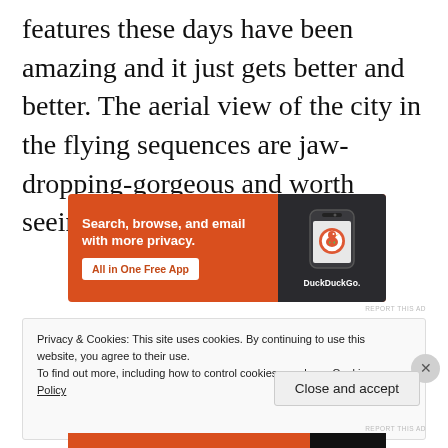features these days have been amazing and it just gets better and better. The aerial view of the city in the flying sequences are jaw-dropping-gorgeous and worth seeing on the big screen.
[Figure (other): DuckDuckGo advertisement banner with orange background. Text reads 'Search, browse, and email with more privacy. All in One Free App' with a phone showing DuckDuckGo logo.]
Privacy & Cookies: This site uses cookies. By continuing to use this website, you agree to their use.
To find out more, including how to control cookies, see here: Cookie Policy